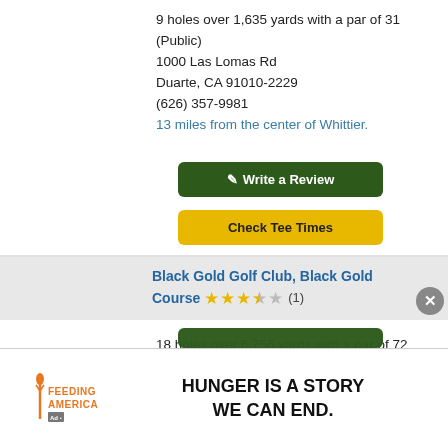9 holes over 1,635 yards with a par of 31 (Public)
1000 Las Lomas Rd
Duarte, CA 91010-2229
(626) 357-9981
13 miles from the center of Whittier.
Write a Review
Check Tee Times
Black Gold Golf Club, Black Gold Course
18 holes over 6,756 yards with a par of 72 (Municipal)
1 Black Gold Dr
Yorba Linda, CA 92886-2383
(714) 961-0060
13 miles from the center of Whittier.
[Figure (infographic): Feeding America advertisement banner with logo and slogan HUNGER IS A STORY WE CAN END.]